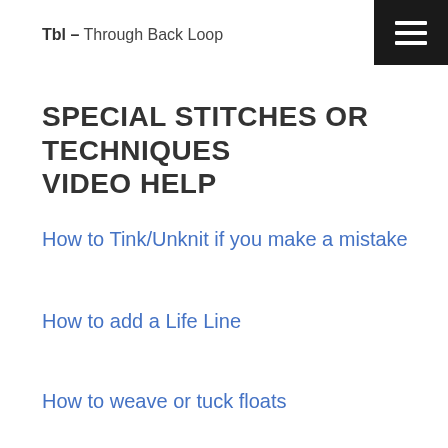Tbl – Through Back Loop
SPECIAL STITCHES OR TECHNIQUES VIDEO HELP
How to Tink/Unknit if you make a mistake
How to add a Life Line
How to weave or tuck floats